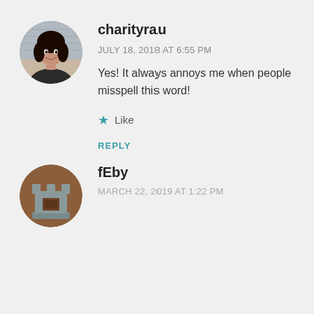[Figure (photo): Circular avatar photo of a young woman with dark hair, smiling, against a blurred background]
charityrau
JULY 18, 2018 AT 6:55 PM
Yes! It always annoys me when people misspell this word!
★ Like
REPLY
[Figure (illustration): Circular avatar icon showing a chess-piece/rook style graphic in brown and gray tones]
fEby
MARCH 22, 2019 AT 1:22 PM